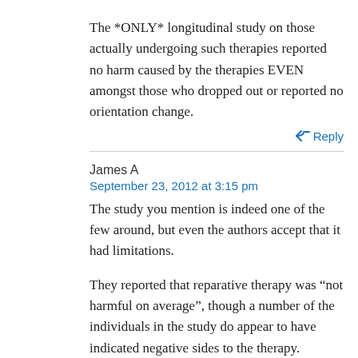The *ONLY* longitudinal study on those actually undergoing such therapies reported no harm caused by the therapies EVEN amongst those who dropped out or reported no orientation change.
↩ Reply
James A
September 23, 2012 at 3:15 pm
The study you mention is indeed one of the few around, but even the authors accept that it had limitations.
They reported that reparative therapy was “not harmful on average”, though a number of the individuals in the study do appear to have indicated negative sides to the therapy.